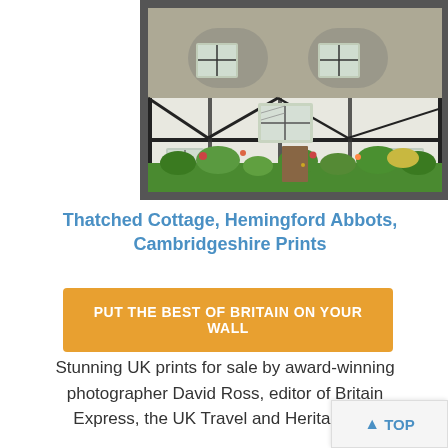[Figure (photo): A thatched cottage with black and white timber framing, diamond-pane windows, and a lush green garden in front, set in Hemingford Abbots, Cambridgeshire.]
Thatched Cottage, Hemingford Abbots, Cambridgeshire Prints
PUT THE BEST OF BRITAIN ON YOUR WALL
Stunning UK prints for sale by award-winning photographer David Ross, editor of Britain Express, the UK Travel and Heritage Gu...